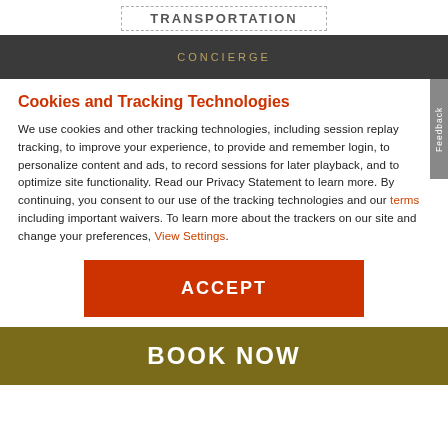TRANSPORTATION
CONCIERGE
Cookies and Tracking Technologies
We use cookies and other tracking technologies, including session replay tracking, to improve your experience, to provide and remember login, to personalize content and ads, to record sessions for later playback, and to optimize site functionality. Read our Privacy Statement to learn more. By continuing, you consent to our use of the tracking technologies and our terms including important waivers. To learn more about the trackers on our site and change your preferences, View Settings.
ACCEPT
BOOK NOW